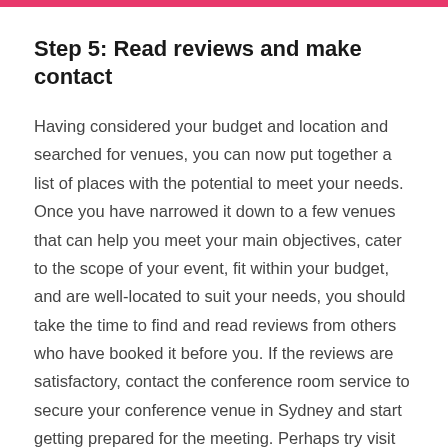Step 5: Read reviews and make contact
Having considered your budget and location and searched for venues, you can now put together a list of places with the potential to meet your needs. Once you have narrowed it down to a few venues that can help you meet your main objectives, cater to the scope of your event, fit within your budget, and are well-located to suit your needs, you should take the time to find and read reviews from others who have booked it before you. If the reviews are satisfactory, contact the conference room service to secure your conference venue in Sydney and start getting prepared for the meeting. Perhaps try visit the venue beforehand to get